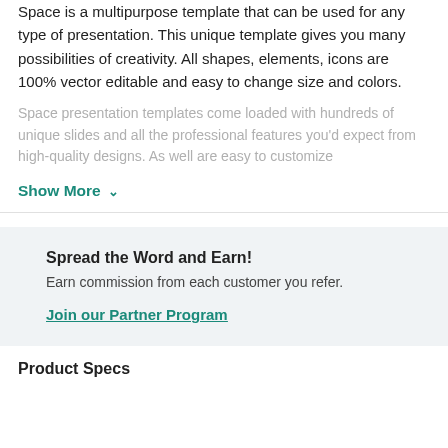Space is a multipurpose template that can be used for any type of presentation. This unique template gives you many possibilities of creativity. All shapes, elements, icons are 100% vector editable and easy to change size and colors.
Space presentation templates come loaded with hundreds of unique slides and all the professional features you'd expect from high-quality designs. As well are easy to customize
Show More
Spread the Word and Earn! Earn commission from each customer you refer. Join our Partner Program
Product Specs